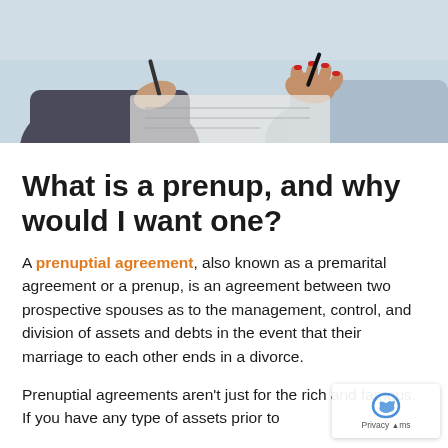[Figure (photo): Overhead photo of two people signing documents at a table — one in a dark suit on the left, one with red-painted nails on the right, both holding pens over papers.]
What is a prenup, and why would I want one?
A prenuptial agreement, also known as a premarital agreement or a prenup, is an agreement between two prospective spouses as to the management, control, and division of assets and debts in the event that their marriage to each other ends in a divorce.
Prenuptial agreements aren't just for the rich and famous. If you have any type of assets prior to